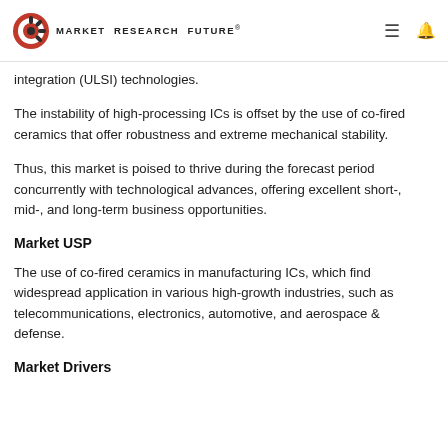MARKET RESEARCH FUTURE®
integration (ULSI) technologies.
The instability of high-processing ICs is offset by the use of co-fired ceramics that offer robustness and extreme mechanical stability.
Thus, this market is poised to thrive during the forecast period concurrently with technological advances, offering excellent short-, mid-, and long-term business opportunities.
Market USP
The use of co-fired ceramics in manufacturing ICs, which find widespread application in various high-growth industries, such as telecommunications, electronics, automotive, and aerospace & defense.
Market Drivers